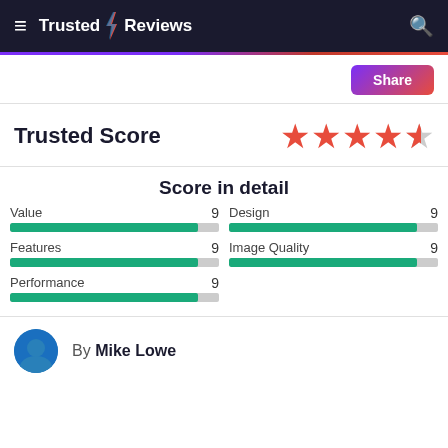Trusted Reviews
Share
Trusted Score ★★★★½
Score in detail
| Category | Score |
| --- | --- |
| Value | 9 |
| Design | 9 |
| Features | 9 |
| Image Quality | 9 |
| Performance | 9 |
By Mike Lowe